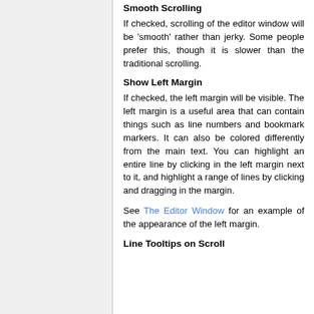Smooth Scrolling
If checked, scrolling of the editor window will be 'smooth' rather than jerky. Some people prefer this, though it is slower than the traditional scrolling.
Show Left Margin
If checked, the left margin will be visible. The left margin is a useful area that can contain things such as line numbers and bookmark markers. It can also be colored differently from the main text. You can highlight an entire line by clicking in the left margin next to it, and highlight a range of lines by clicking and dragging in the margin.
See The Editor Window for an example of the appearance of the left margin.
Line Tooltips on Scroll